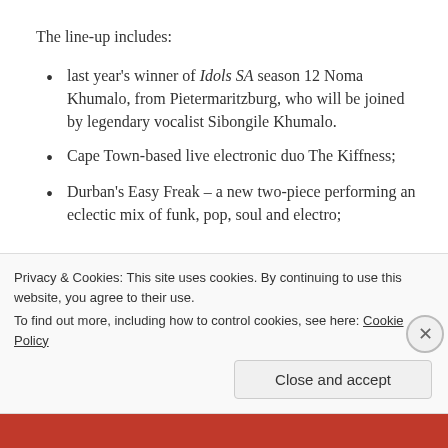The line-up includes:
last year's winner of Idols SA season 12 Noma Khumalo, from Pietermaritzburg, who will be joined by legendary vocalist Sibongile Khumalo.
Cape Town-based live electronic duo The Kiffness;
Durban's Easy Freak – a new two-piece performing an eclectic mix of funk, pop, soul and electro;
Privacy & Cookies: This site uses cookies. By continuing to use this website, you agree to their use.
To find out more, including how to control cookies, see here: Cookie Policy
Close and accept